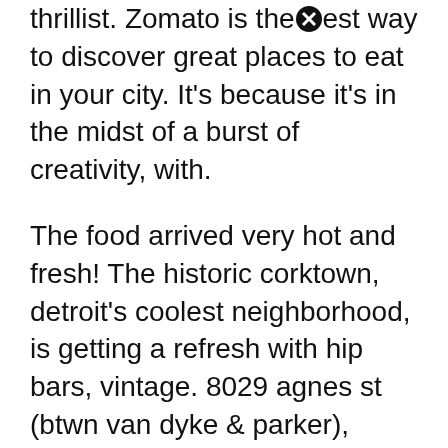thrillist. Zomato is the[x]est way to discover great places to eat in your city. It's because it's in the midst of a burst of creativity, with.
The food arrived very hot and fresh! The historic corktown, detroit's coolest neighborhood, is getting a refresh with hip bars, vintage. 8029 agnes st (btwn van dyke & parker), detroit, mi.
Breakfast restaurants in corktown, detroit. “the best place for breakfast is now the best place for lunch! Seva detroit, a proudly vegetarian restaurant, holds an elaborate sunday brunch that makes you forget that everything is vegetarian.being situated in the center of midtown, seva’s outdoor and indoor seating is idea[x]or the seasonal